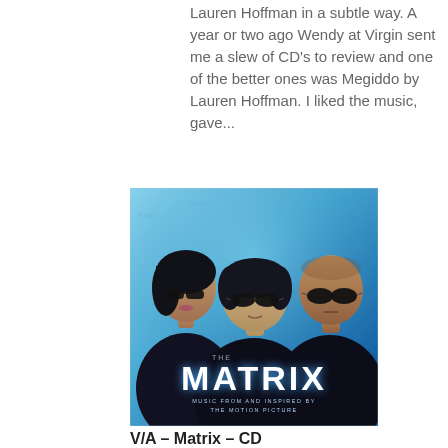Lauren Hoffman in a subtle way. A year or two ago Wendy at Virgin sent me a slew of CD's to review and one of the better ones was Megiddo by Lauren Hoffman. I liked the music, gave...
[Figure (photo): Album cover for 'The Matrix - Music from and inspired by the Motion Picture' showing three characters from the Matrix film wearing sunglasses against a blue background, with the word MATRIX prominently displayed]
V/A – Matrix – CD